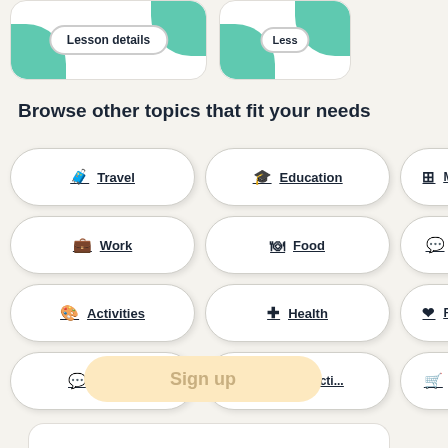[Figure (screenshot): Two lesson card thumbnails with teal corner decorations and 'Lesson details' button]
Browse other topics that fit your needs
Travel
Education
Miscellan...
Work
Food
Opinions
Activities
Health
Relations...
Basics
Introducti...
Shopping
Sign up